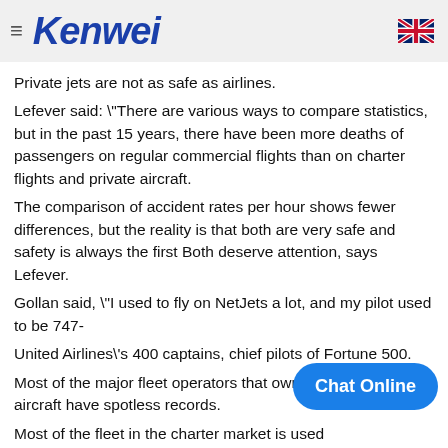Kenwei
Private jets are not as safe as airlines.
Lefever said: \"There are various ways to compare statistics, but in the past 15 years, there have been more deaths of passengers on regular commercial flights than on charter flights and private aircraft.
The comparison of accident rates per hour shows fewer differences, but the reality is that both are very safe and safety is always the first Both deserve attention, says Lefever.
Gollan said, \"I used to fly on NetJets a lot, and my pilot used to be 747-
United Airlines\'s 400 captains, chief pilots of Fortune 500.
Most of the major fleet operators that own and operate aircraft have spotless records.
Most of the fleet in the charter market is used b when he or she does not use it, he or she will be